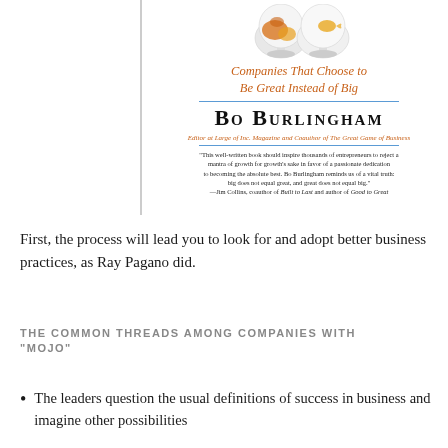[Figure (illustration): Book cover of 'Small Giants: Companies That Choose to Be Great Instead of Big' by Bo Burlingham, showing two fishbowls, orange/italic subtitle, author name in large small-caps, byline in orange italic, blue divider lines, and a blurb by Jim Collins.]
First, the process will lead you to look for and adopt better business practices, as Ray Pagano did.
THE COMMON THREADS AMONG COMPANIES WITH "MOJO"
The leaders question the usual definitions of success in business and imagine other possibilities